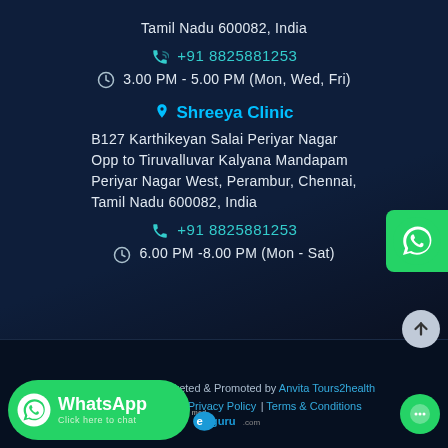Tamil Nadu 600082, India
📞 +91 8825881253
🕐 3.00 PM - 5.00 PM (Mon, Wed, Fri)
📍 Shreeya Clinic
B127 Karthikeyan Salai Periyar Nagar Opp to Tiruvalluvar Kalyana Mandapam Periyar Nagar West, Perambur, Chennai, Tamil Nadu 600082, India
+91 8825881253
🕐 6.00 PM -8.00 PM (Mon - Sat)
Conceptualized, Marketed & Promoted by Anvita Tours2health Pvt. Ltd. | Sitemap | Privacy Policy | Terms & Conditions